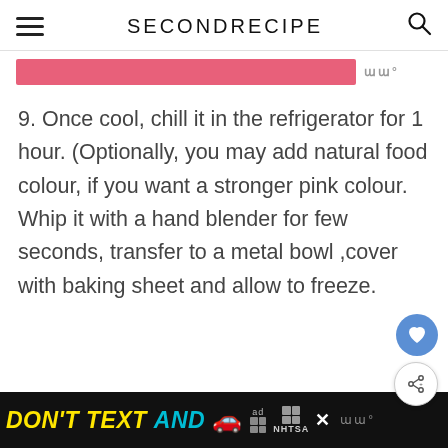SECONDRECIPE
[Figure (screenshot): Pink progress bar / chapter divider bar, partially visible at top of content area]
9. Once cool, chill it in the refrigerator for 1 hour. (Optionally, you may add natural food colour, if you want a stronger pink colour. Whip it with a hand blender for few seconds, transfer to a metal bowl ,cover with baking sheet and allow to freeze.
[Figure (photo): Close-up photo of a bowl containing a pinkish-brown liquid or cream mixture, viewed from above, with a dark bowl rim visible]
[Figure (screenshot): Advertisement banner at bottom: DON'T TEXT AND [car emoji] with NHTSA branding on black background]